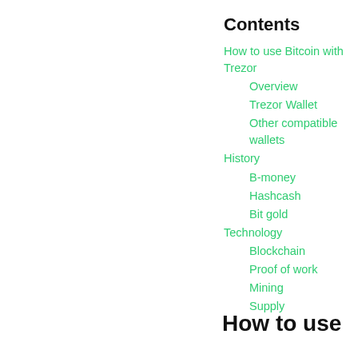Contents
How to use Bitcoin with Trezor
Overview
Trezor Wallet
Other compatible wallets
History
B-money
Hashcash
Bit gold
Technology
Blockchain
Proof of work
Mining
Supply
How to use